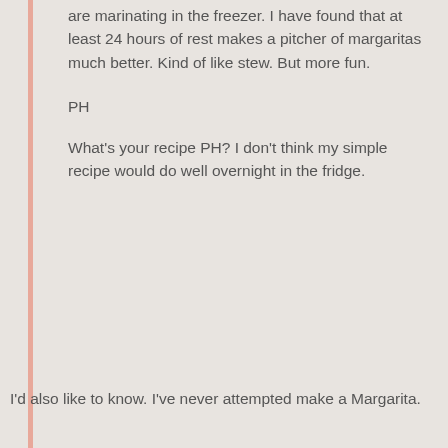are marinating in the freezer. I have found that at least 24 hours of rest makes a pitcher of margaritas much better. Kind of like stew. But more fun.
PH
What's your recipe PH? I don't think my simple recipe would do well overnight in the fridge.
I'd also like to know. I've never attempted make a Margarita.